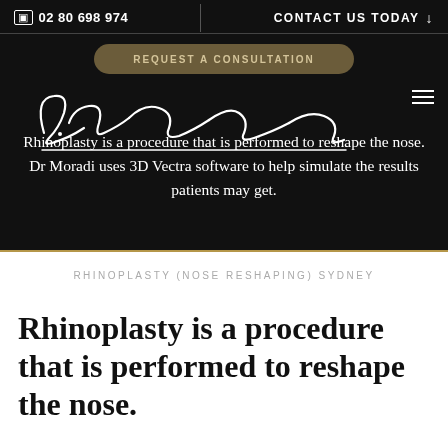02 80 698 974 | CONTACT US TODAY
REQUEST A CONSULTATION
[Figure (illustration): Dr. Pouria Moradi cursive signature in white on dark background]
Rhinoplasty is a procedure that is performed to reshape the nose. Dr Moradi uses 3D Vectra software to help simulate the results patients may get.
RHINOPLASTY (NOSE RESHAPING) SYDNEY
Rhinoplasty is a procedure that is performed to reshape the nose.